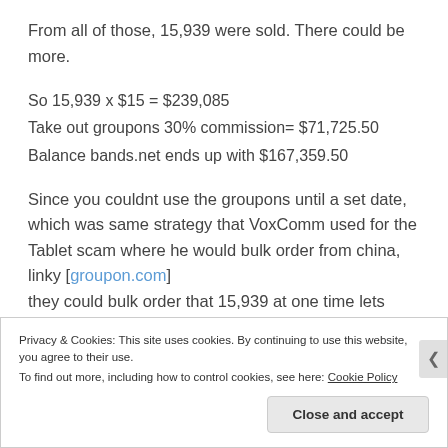From all of those, 15,939 were sold. There could be more.
So 15,939 x $15 = $239,085
Take out groupons 30% commission= $71,725.50
Balance bands.net ends up with $167,359.50
Since you couldnt use the groupons until a set date, which was same strategy that VoxComm used for the Tablet scam where he would bulk order from china, linky [groupon.com]
they could bulk order that 15,939 at one time lets
Privacy & Cookies: This site uses cookies. By continuing to use this website, you agree to their use.
To find out more, including how to control cookies, see here: Cookie Policy
Close and accept